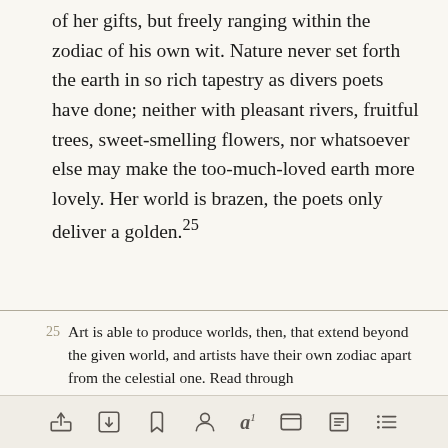of her gifts, but freely ranging within the zodiac of his own wit. Nature never set forth the earth in so rich tapestry as divers poets have done; neither with pleasant rivers, fruitful trees, sweet-smelling flowers, nor whatsoever else may make the too-much-loved earth more lovely. Her world is brazen, the poets only deliver a golden.²⁵
25 Art is able to produce worlds, then, that extend beyond the given world, and artists have their own zodiac apart from the celestial one. Read through